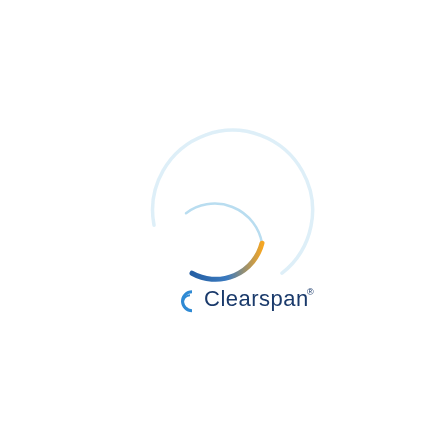[Figure (logo): Clearspan logo: a circular arc graphic in light blue and orange/amber gradient above the wordmark, with a small blue 'C' icon followed by the word 'Clearspan' in dark navy/blue text with a registered trademark symbol.]